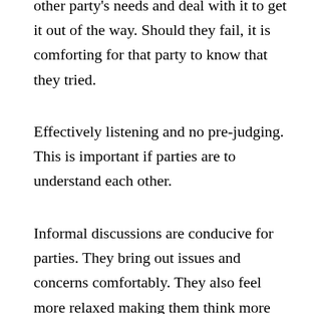other party's needs and deal with it to get it out of the way. Should they fail, it is comforting for that party to know that they tried.
Effectively listening and no pre-judging. This is important if parties are to understand each other.
Informal discussions are conducive for parties. They bring out issues and concerns comfortably. They also feel more relaxed making them think more clearly.